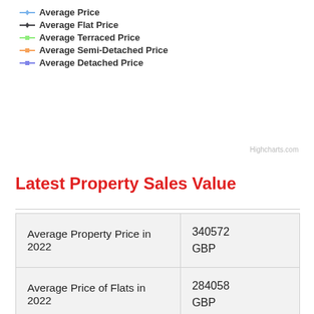[Figure (other): Chart legend showing five series: Average Price (blue line with diamond marker), Average Flat Price (black line with diamond marker), Average Terraced Price (green line with square marker), Average Semi-Detached Price (orange line with square marker), Average Detached Price (purple line with square marker). Attributed to Highcharts.com.]
Latest Property Sales Value
| Average Property Price in 2022 | 340572
GBP |
| Average Price of Flats in 2022 | 284058
GBP |
| Average Price of Terraced property in 2022 | 271686
GBP |